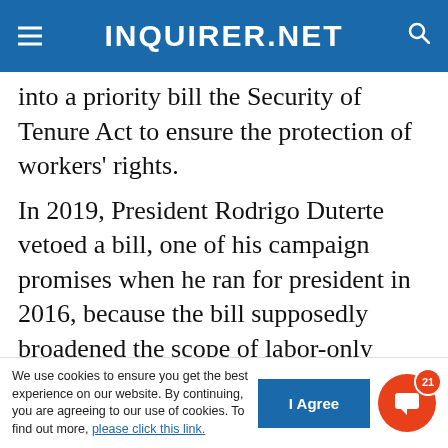INQUIRER.NET
into a priority bill the Security of Tenure Act to ensure the protection of workers' rights.
In 2019, President Rodrigo Duterte vetoed a bill, one of his campaign promises when he ran for president in 2016, because the bill supposedly broadened the scope of labor-only contracting.
FEATURED STORIES
NEWSINFO
Rep. Teves upset for being muted during House hearing
NEWSINFO
We use cookies to ensure you get the best experience on our website. By continuing, you are agreeing to our use of cookies. To find out more, please click this link.